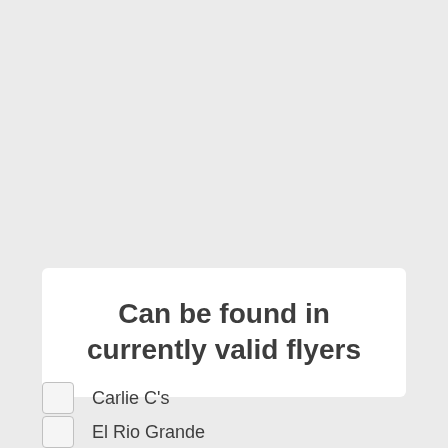Can be found in currently valid flyers
Carlie C's
El Rio Grande